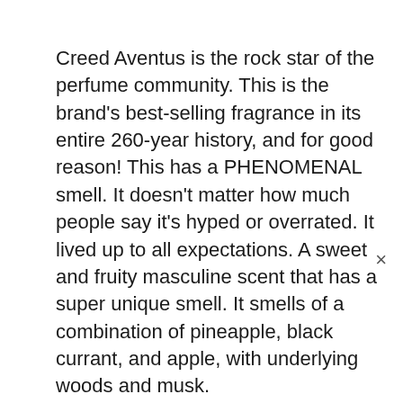Creed Aventus is the rock star of the perfume community. This is the brand's best-selling fragrance in its entire 260-year history, and for good reason! This has a PHENOMENAL smell. It doesn't matter how much people say it's hyped or overrated. It lived up to all expectations. A sweet and fruity masculine scent that has a super unique smell. It smells of a combination of pineapple, black currant, and apple, with underlying woods and musk.
Super-versatile. Aventus can be used in all seasons and for all occasions, day and night.